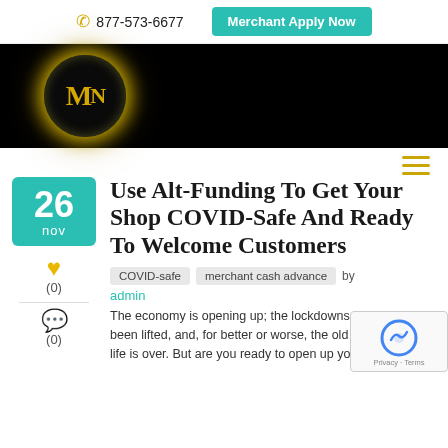877-573-6677 | Merchant Apply Now
[Figure (logo): MN logo in gold on black circular background with glowing ring effect]
[Figure (other): Hamburger menu icon with three gold horizontal lines]
Use Alt-Funding To Get Your Shop COVID-Safe And Ready To Welcome Customers
COVID-safe  merchant cash advance  by
admin
The economy is opening up; the lockdowns have been lifted, and, for better or worse, the old life is over. But are you ready to open up your re...